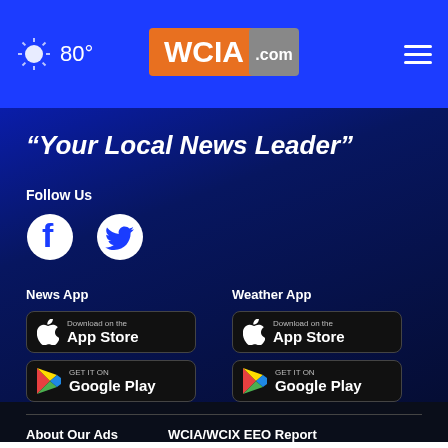80° WCIA.com
"Your Local News Leader"
Follow Us
[Figure (logo): Facebook and Twitter social media icons]
News App
[Figure (screenshot): Download on the App Store button]
[Figure (screenshot): Get it on Google Play button]
Weather App
[Figure (screenshot): Download on the App Store button]
[Figure (screenshot): Get it on Google Play button]
About Our Ads    WCIA/WCIX EEO Report